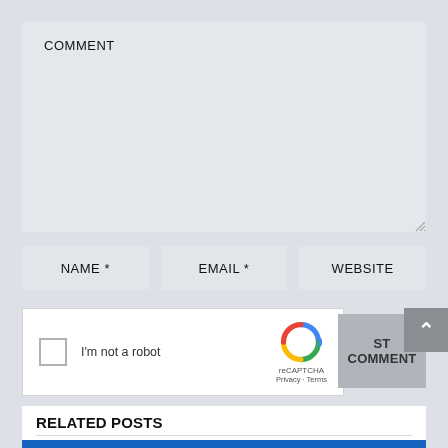COMMENT
NAME *
EMAIL *
WEBSITE
[Figure (other): reCAPTCHA widget with checkbox labeled I'm not a robot, reCAPTCHA logo, Privacy and Terms links]
ST COMMENT
RELATED POSTS